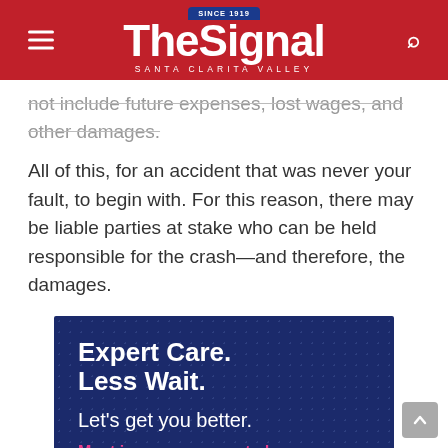The Signal — Santa Clarita Valley
not include future expenses, lost wages, and other damages.
All of this, for an accident that was never your fault, to begin with. For this reason, there may be liable parties at stake who can be held responsible for the crash—and therefore, the damages.
[Figure (infographic): Dark navy blue advertisement banner with dot pattern background. Large bold white text reads 'Expert Care. Less Wait.' followed by 'Let's get you better.' in regular white text, and 'Most insurance accepted.' in pink/magenta text.]